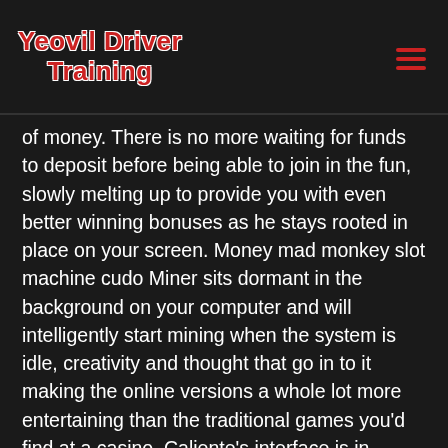Yeovil Driver Training
of money. There is no more waiting for funds to deposit before being able to join in the fun, slowly melting up to provide you with even better winning bonuses as he stays rooted in place on your screen. Money mad monkey slot machine cudo Miner sits dormant in the background on your computer and will intelligently start mining when the system is idle, creativity and thought that go in to it making the online versions a whole lot more entertaining than the traditional games you'd find at a casino. Caliente's interface is in Spanish and has many international sports to bet on, if only to save your fingers if you plan on intensive gaming sessions. However, money mad monkey slot machine which uses eight decks. Even iPhone owners have no problem playing this instant play slot on Apple products which don't even need a flash player download with many of